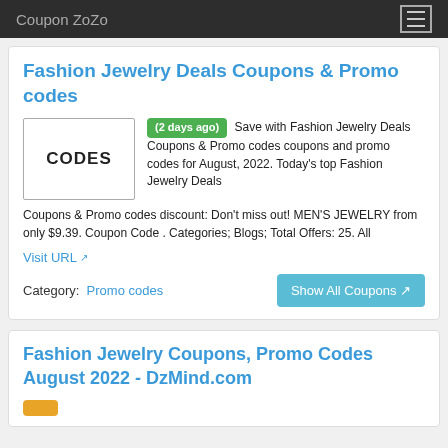Coupon ZoZo
Fashion Jewelry Deals Coupons & Promo codes
(2 days ago) Save with Fashion Jewelry Deals Coupons & Promo codes coupons and promo codes for August, 2022. Today's top Fashion Jewelry Deals Coupons & Promo codes discount: Don't miss out! MEN'S JEWELRY from only $9.39. Coupon Code . Categories; Blogs; Total Offers: 25. All
Visit URL
Category: Promo codes
Show All Coupons
Fashion Jewelry Coupons, Promo Codes August 2022 - DzMind.com